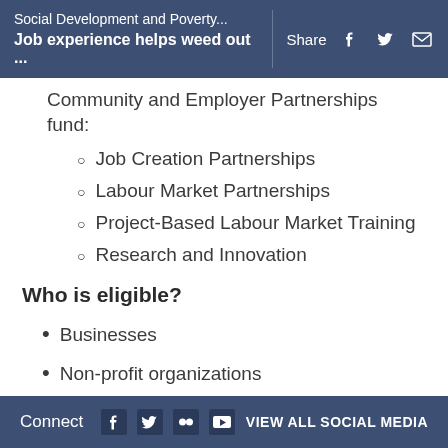Social Development and Poverty... | Job experience helps weed out ...
Community and Employer Partnerships fund:
Job Creation Partnerships
Labour Market Partnerships
Project-Based Labour Market Training
Research and Innovation
Who is eligible?
Businesses
Non-profit organizations
Municipalities, agencies or territorial governments
Bands/tribal councils
Public health and educational institutions
Connect  VIEW ALL SOCIAL MEDIA